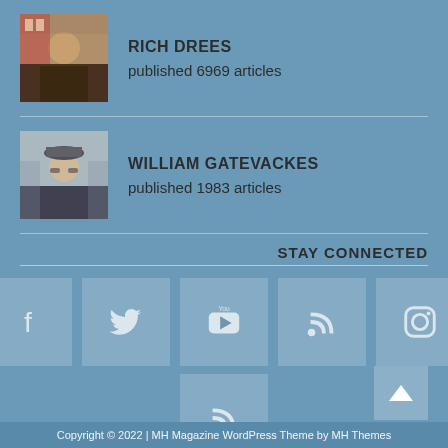[Figure (photo): Profile photo of Rich Drees]
RICH DREES
published 6969 articles
[Figure (photo): Profile photo of William Gatevackes]
WILLIAM GATEVACKES
published 1983 articles
STAY CONNECTED
[Figure (infographic): Social media icons: Facebook, Twitter, YouTube, RSS, Instagram in top row; RSS in second row centered]
Copyright © 2022 | MH Magazine WordPress Theme by MH Themes